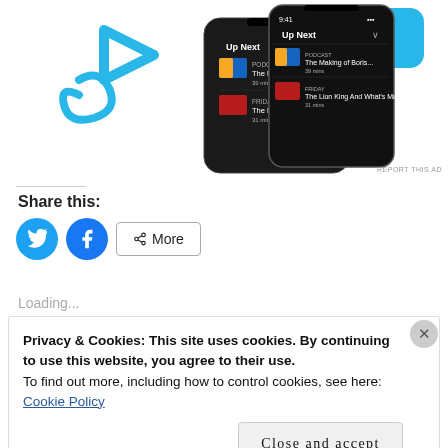[Figure (screenshot): Advertisement screenshot showing a podcast app 'Up Next' screen on two overlapping smartphones with blue decorative play button and shape graphics. Text 'REPORT THIS AD' in bottom-right corner.]
Share this:
[Figure (infographic): Social sharing buttons: Twitter (blue circle with bird icon), Facebook (blue circle with f icon), and a More button with share icon.]
Loading...
Privacy & Cookies: This site uses cookies. By continuing to use this website, you agree to their use.
To find out more, including how to control cookies, see here:
Cookie Policy
Close and accept